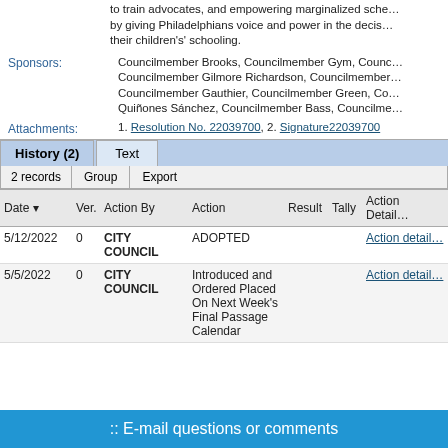to train advocates, and empowering marginalized sch... by giving Philadelphians voice and power in the decis... their children's' schooling.
Councilmember Brooks, Councilmember Gym, Counc... Councilmember Gilmore Richardson, Councilmember... Councilmember Gauthier, Councilmember Green, Co... Quiñones Sánchez, Councilmember Bass, Councilme...
Sponsors:
Attachments:
1. Resolution No. 22039700, 2. Signature22039700
| Date | Ver. | Action By | Action | Result | Tally | Action Details |
| --- | --- | --- | --- | --- | --- | --- |
| 5/12/2022 | 0 | CITY COUNCIL | ADOPTED |  |  | Action details |
| 5/5/2022 | 0 | CITY COUNCIL | Introduced and Ordered Placed On Next Week's Final Passage Calendar |  |  | Action details |
:: E-mail questions or comments